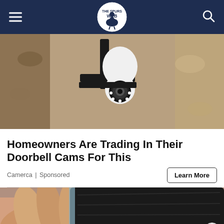The Spurs Web
[Figure (photo): Security camera mounted on a wall bracket against a textured stone wall, close-up view showing camera lens with LED ring lights]
Homeowners Are Trading In Their Doorbell Cams For This
Camerca | Sponsored
[Figure (photo): Close-up of a hand holding what appears to be a black leather mat or yoga mat]
Tally Fast credit card payoff Download Now